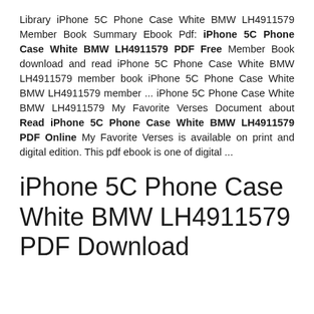Library iPhone 5C Phone Case White BMW LH4911579 Member Book Summary Ebook Pdf: iPhone 5C Phone Case White BMW LH4911579 PDF Free Member Book download and read iPhone 5C Phone Case White BMW LH4911579 member book iPhone 5C Phone Case White BMW LH4911579 member ... iPhone 5C Phone Case White BMW LH4911579 My Favorite Verses Document about Read iPhone 5C Phone Case White BMW LH4911579 PDF Online My Favorite Verses is available on print and digital edition. This pdf ebook is one of digital ...
iPhone 5C Phone Case White BMW LH4911579 PDF Download